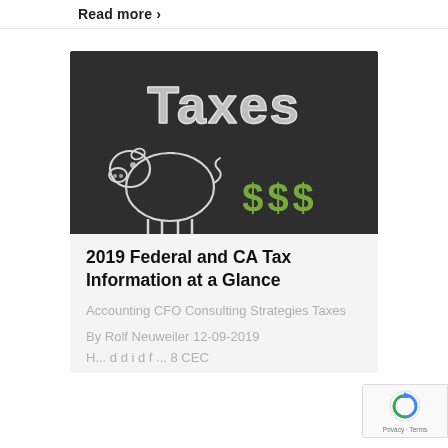Read more ›
[Figure (photo): Chalkboard with 'Taxes' written in chalk, a chalk-drawn piggy bank, and green dollar signs ($$$)]
2019 Federal and CA Tax Information at a Glance
Accounting CFO Consulting Strategies Taxes
By Rolf Neuweiler 12-09-2019
H... d d i d f ... 8 CEC